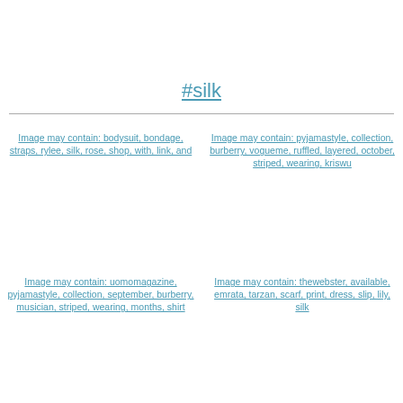#silk
[Figure (screenshot): Image placeholder with alt text: Image may contain: bodysuit, bondage, straps, rylee, silk, rose, shop, with, link, and]
[Figure (screenshot): Image placeholder with alt text: Image may contain: pyjamastyle, collection, burberry, vogueme, ruffled, layered, october, striped, wearing, kriswu]
[Figure (screenshot): Image placeholder with alt text: Image may contain: uomomagazine, pyjamastyle, collection, september, burberry, musician, striped, wearing, months, shirt]
[Figure (screenshot): Image placeholder with alt text: Image may contain: thewebster, available, emrata, tarzan, scarf, print, dress, slip, lily, silk]
[Figure (screenshot): Image placeholder with alt text: Image may contain:]
[Figure (screenshot): Image placeholder with alt text: Image may contain:]